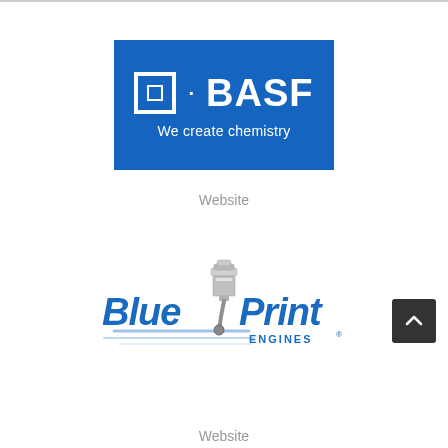[Figure (logo): BASF logo — blue rectangle with white square icon, white dot, white BASF wordmark, and white tagline 'We create chemistry']
Website
[Figure (logo): Blue Print Engines logo — italic blue text 'Blue Print' with a chrome piston graphic between the words and 'ENGINES' in smaller text below, with blue speed lines]
Website